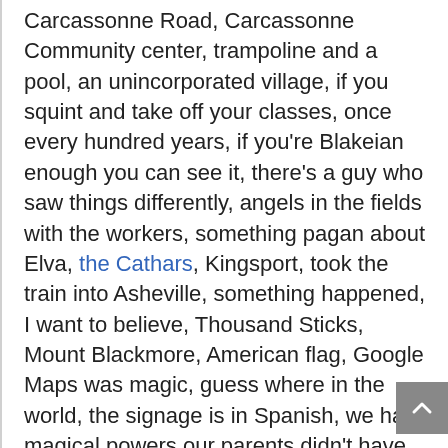Carcassonne Road, Carcassonne Community center, trampoline and a pool, an unincorporated village, if you squint and take off your classes, once every hundred years, if you're Blakeian enough you can see it, there's a guy who saw things differently, angels in the fields with the workers, something pagan about Elva, the Cathars, Kingsport, took the train into Asheville, something happened, I want to believe, Thousand Sticks, Mount Blackmore, American flag, Google Maps was magic, guess where in the world, the signage is in Spanish, we have magical powers our parents didn't have, in the per-internet age, the state library in the capital of West Virginia, wait for the internet, lost and suppressed by google, if you know the address (the magic word) you can find it on the WayBackmachine, Protecting Project Pulp, Friend Island, a male reporter, women control the world, the grim and gritty sea-side tea house, an old sailoress, the only ships are trading ships or peace ships, shipwrecked on a man on an island and the island